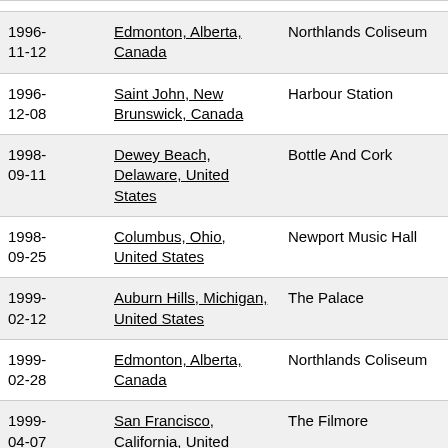| Date | Location | Venue |  |
| --- | --- | --- | --- |
| 1996-11-12 | Edmonton, Alberta, Canada | Northlands Coliseum | setlist |
| 1996-12-08 | Saint John, New Brunswick, Canada | Harbour Station | setlist |
| 1998-09-11 | Dewey Beach, Delaware, United States | Bottle And Cork | setlist |
| 1998-09-25 | Columbus, Ohio, United States | Newport Music Hall | setlist |
| 1999-02-12 | Auburn Hills, Michigan, United States | The Palace | setlist |
| 1999-02-28 | Edmonton, Alberta, Canada | Northlands Coliseum | setlist |
| 1999-04-07 | San Francisco, California, United States | The Filmore | setlist |